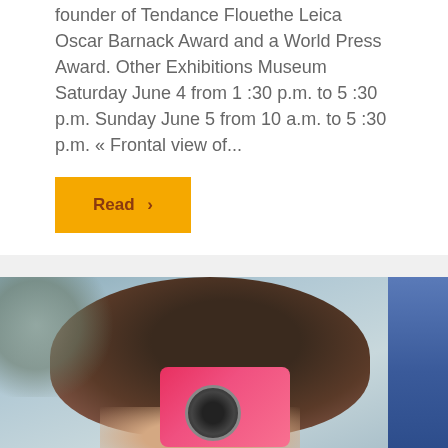founder of Tendance Flouethe Leica Oscar Barnack Award and a World Press Award. Other Exhibitions Museum Saturday June 4 from 1 :30 p.m. to 5 :30 p.m. Sunday June 5 from 10 a.m. to 5 :30 p.m. « Frontal view of...
[Figure (other): Yellow/orange 'Read >' button]
[Figure (photo): A child holding a pink toy camera up to their face, with a blue-clad person visible on the right side, outdoor setting with blurred background.]
“My Photo Fair” Competition